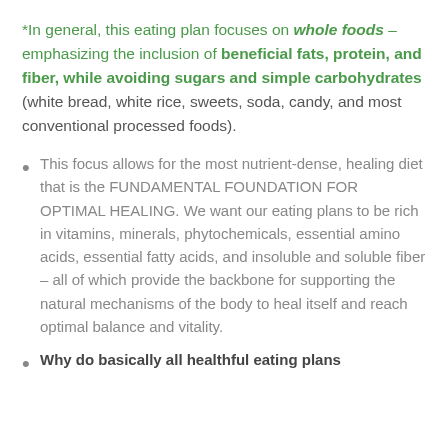*In general, this eating plan focuses on whole foods – emphasizing the inclusion of beneficial fats, protein, and fiber, while avoiding sugars and simple carbohydrates (white bread, white rice, sweets, soda, candy, and most conventional processed foods).
This focus allows for the most nutrient-dense, healing diet that is the FUNDAMENTAL FOUNDATION FOR OPTIMAL HEALING. We want our eating plans to be rich in vitamins, minerals, phytochemicals, essential amino acids, essential fatty acids, and insoluble and soluble fiber – all of which provide the backbone for supporting the natural mechanisms of the body to heal itself and reach optimal balance and vitality.
Why do basically all healthful eating plans